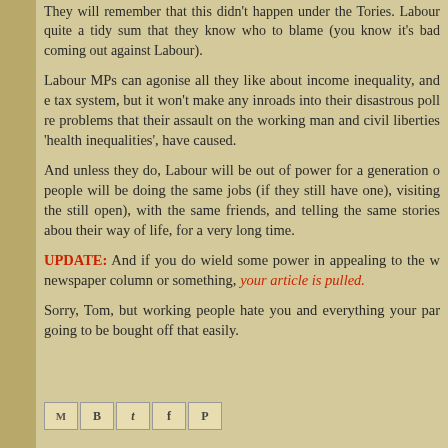They will remember that this didn't happen under the Tories. Labour quite a tidy sum that they know who to blame (you know it's bad coming out against Labour).
Labour MPs can agonise all they like about income inequality, and e tax system, but it won't make any inroads into their disastrous poll re problems that their assault on the working man and civil liberties 'health inequalities', have caused.
And unless they do, Labour will be out of power for a generation o people will be doing the same jobs (if they still have one), visiting the still open), with the same friends, and telling the same stories abou their way of life, for a very long time.
UPDATE: And if you do wield some power in appealing to the w newspaper column or something, your article is pulled.
Sorry, Tom, but working people hate you and everything your par going to be bought off that easily.
[Figure (other): Social sharing icons: email (M), Blogger (B), Twitter (t), Facebook (f), Pinterest (P)]